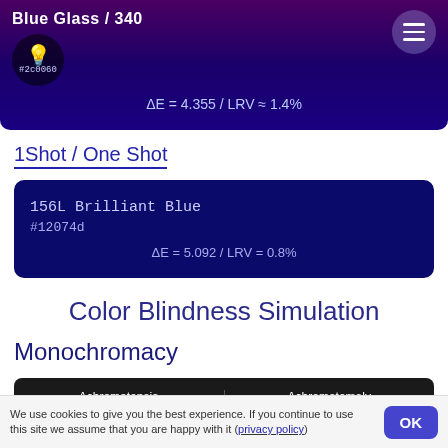Blue Glass / 340  #2c0060  ΔE = 4.355 / LRV ≈ 1.4%
1Shot / One Shot
156L Brilliant Blue  #12074d  ΔE = 5.092 / LRV = 0.8%
Color Blindness Simulation
Monochromacy
Achromatopsia   Achromatomaly
We use cookies to give you the best experience. If you continue to use this site we assume that you are happy with it (privacy policy)